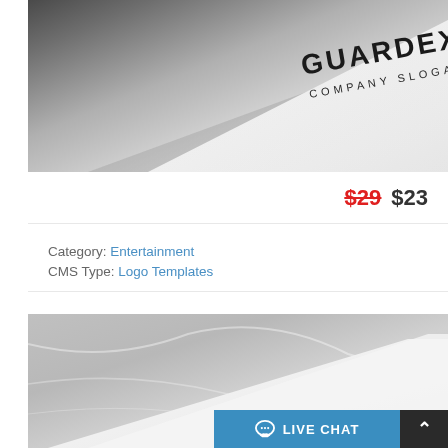[Figure (photo): Close-up photo of a white textured paper/card on dark background showing 'GUARDEX COMPANY SLOGAN' logo text in dark bold lettering at an angle]
$29 $23
Category: Entertainment
CMS Type: Logo Templates
[Figure (photo): Close-up photo of white textured paper/card on grey marble background, partially visible]
LIVE CHAT